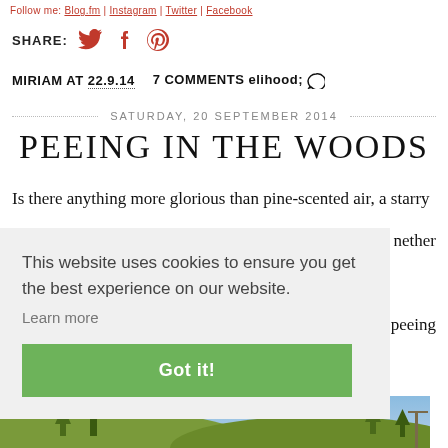Follow me: Blog.fm | Instagram | Twitter | Facebook
SHARE:
MIRIAM AT 22.9.14   7 COMMENTS
SATURDAY, 20 SEPTEMBER 2014
PEEING IN THE WOODS
Is there anything more glorious than pine-scented air, a starry nether
This website uses cookies to ensure you get the best experience on our website.
Learn more
Got it!
peeing
[Figure (photo): Outdoor landscape photo showing trees and hills at the bottom of the page]